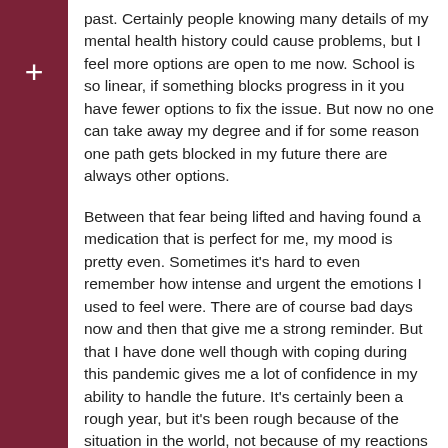past. Certainly people knowing many details of my mental health history could cause problems, but I feel more options are open to me now. School is so linear, if something blocks progress in it you have fewer options to fix the issue. But now no one can take away my degree and if for some reason one path gets blocked in my future there are always other options.
Between that fear being lifted and having found a medication that is perfect for me, my mood is pretty even. Sometimes it's hard to even remember how intense and urgent the emotions I used to feel were. There are of course bad days now and then that give me a strong reminder. But that I have done well though with coping during this pandemic gives me a lot of confidence in my ability to handle the future. It's certainly been a rough year, but it's been rough because of the situation in the world, not because of my reactions to the situation. I should be careful what I say though lest I jinx it.